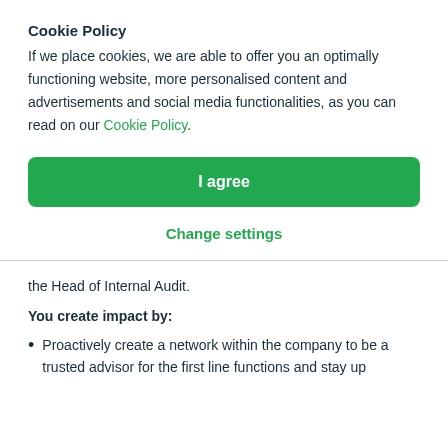Cookie Policy
If we place cookies, we are able to offer you an optimally functioning website, more personalised content and advertisements and social media functionalities, as you can read on our Cookie Policy.
I agree
Change settings
the Head of Internal Audit.
You create impact by:
Proactively create a network within the company to be a trusted advisor for the first line functions and stay up